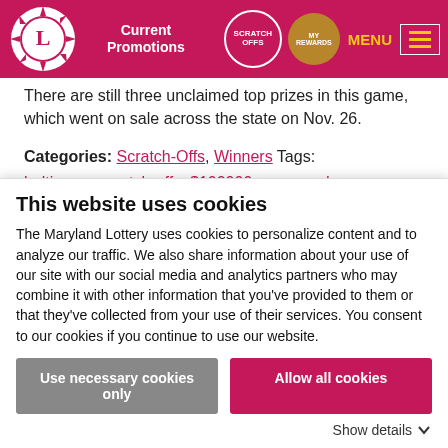[Figure (screenshot): Maryland Lottery navigation bar with logo, Current Promotions, Scratch-Offs badge, My Rewards badge, MENU, and hamburger icon on magenta background]
There are still three unclaimed top prizes in this game, which went on sale across the state on Nov. 26.
Categories: Scratch-Offs, Winners Tags: baltimore, scratch-offs, $100000 crossword
← No Mistake: Scratch-off Gives Gaithersburg Man $30,000 Top Prize
Rockville Handyman Finds All The Money →
This website uses cookies
The Maryland Lottery uses cookies to personalize content and to analyze our traffic. We also share information about your use of our site with our social media and analytics partners who may combine it with other information that you've provided to them or that they've collected from your use of their services. You consent to our cookies if you continue to use our website.
Use necessary cookies only | Allow all cookies
Show details